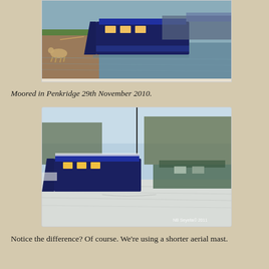[Figure (photo): Narrowboat moored along a canal towpath with a dog walking nearby. Green grass and water visible.]
Moored in Penkridge 29th November 2010.
[Figure (photo): Narrowboat moored in a frozen canal in Penkridge. Ice covers the water surface, trees visible in background. Watermark reads NB Seyella© 2011.]
Notice the difference? Of course. We're using a shorter aerial mast.